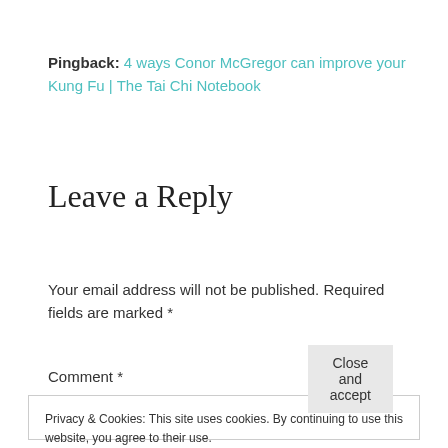Pingback: 4 ways Conor McGregor can improve your Kung Fu | The Tai Chi Notebook
Leave a Reply
Your email address will not be published. Required fields are marked *
Comment *
Privacy & Cookies: This site uses cookies. By continuing to use this website, you agree to their use.
To find out more, including how to control cookies, see here: Cookie Policy